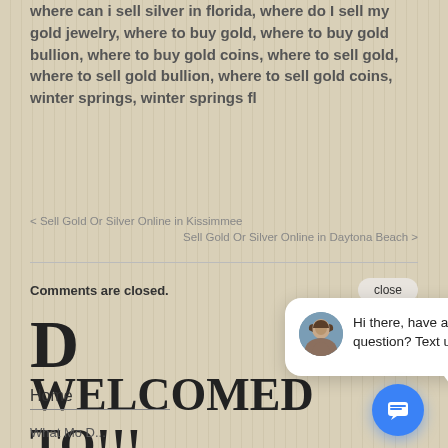where can i sell silver in florida, where do I sell my gold jewelry, where to buy gold, where to buy gold bullion, where to buy gold coins, where to sell gold, where to sell gold bullion, where to sell gold coins, winter springs, winter springs fl
< Sell Gold Or Silver Online in Kissimmee
Sell Gold Or Silver Online in Daytona Beach >
Comments are closed.
[Figure (screenshot): Chat popup widget with avatar photo of woman, message 'Hi there, have a question? Text us here.' and close button, plus blue chat FAB button]
D
WELCOMED TO!!!
Home
What Mo D...